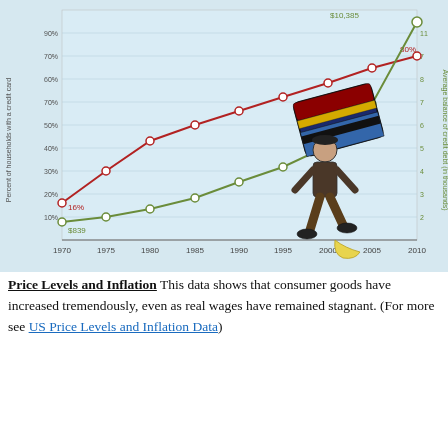[Figure (line-chart): Credit Card Debt and Household Ownership]
Price Levels and Inflation This data shows that consumer goods have increased tremendously, even as real wages have remained stagnant. (For more see US Price Levels and Inflation Data)